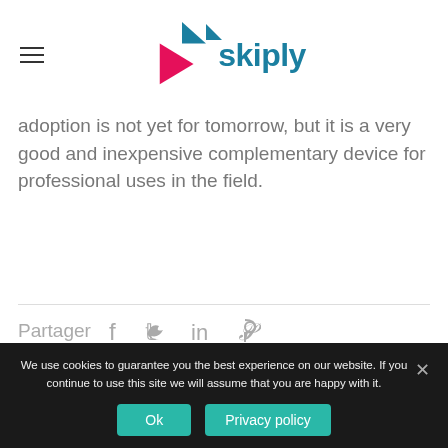skiply
adoption is not yet for tomorrow, but it is a very good and inexpensive complementary device for professional uses in the field.
Partager  f  t  in  p
Similar items
We use cookies to guarantee you the best experience on our website. If you continue to use this site we will assume that you are happy with it.